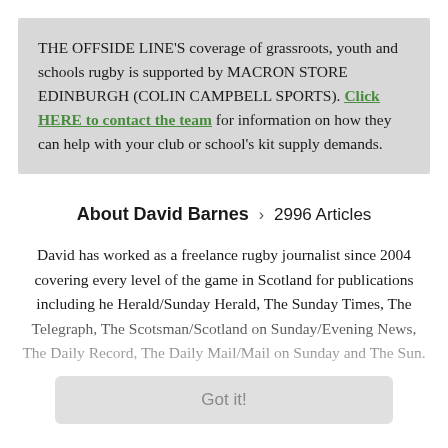THE OFFSIDE LINE'S coverage of grassroots, youth and schools rugby is supported by MACRON STORE EDINBURGH (COLIN CAMPBELL SPORTS). Click HERE to contact the team for information on how they can help with your club or school's kit supply demands.
About David Barnes > 2996 Articles
David has worked as a freelance rugby journalist since 2004 covering every level of the game in Scotland for publications including he Herald/Sunday Herald, The Sunday Times, The Telegraph, The Scotsman/Scotland on Sunday/Evening News, The Daily Record, The Daily Mail/Mail on Sunday and The Sun.
Got it!